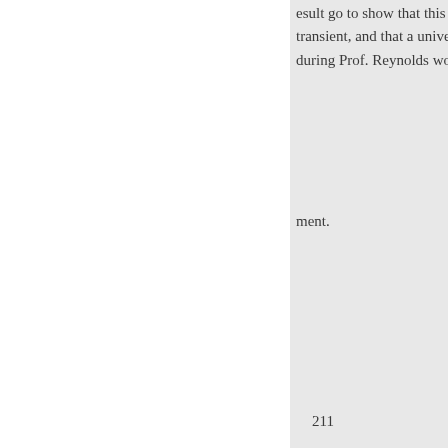...result go to show that this pha... transient, and that a universe con... during Prof. Reynolds would suf...
ment.
211
con
appear fortuitously at rare interva...
Émile Picard.-On tinuous exis... calcium and calcium were a gran...